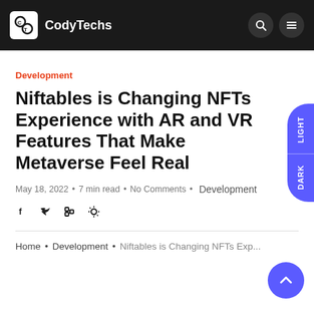CodyTechs
Development
Niftables is Changing NFTs Experience with AR and VR Features That Make Metaverse Feel Real
May 18, 2022 • 7 min read • No Comments • Development
Home • Development • Niftables is Changing NFTs Exp...